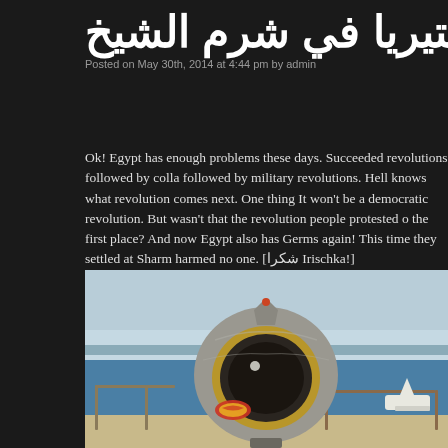البكتيريا في شرم الشيخ
Posted on May 30th, 2014 at 4:44 pm by admin
Ok! Egypt has enough problems these days. Succeeded revolutions followed by colla followed by military revolutions. Hell knows what revolution comes next. One thing It won't be a democratic revolution. But wasn't that the revolution people protested o the first place? And now Egypt also has Germs again! This time they settled at Sharm harmed no one. [شكرا Irischka!]
[Figure (photo): A coin-operated binocular/telescope viewer mounted on a pedestal overlooking the Red Sea at Sharm el-Sheikh, Egypt. A boat is visible in the water in the background. The viewer has a sticker on it.]